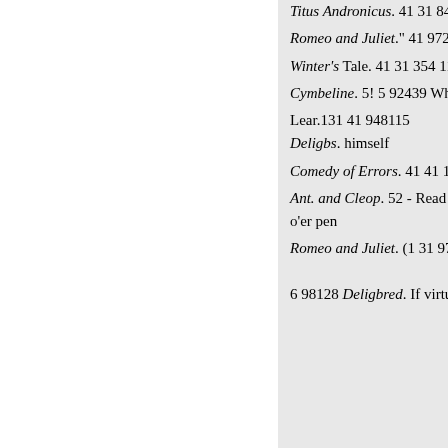Titus Andronicus. 41 31 84811
Romeo and Juliet." 41 972121
Winter's Tale. 41 31 354 1130
Cymbeline. 5! 5 92439 When t
Lear.131 41 948115 Deligbs. himself
Comedy of Errors. 41 41 116
Ant. and Cleop. 52 - Read o'er pen
Romeo and Juliet. (1 31 97112
6 98128 Deligbred. If virtue n